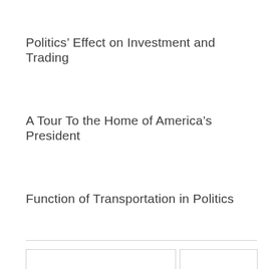Politics’ Effect on Investment and Trading
A Tour To the Home of America’s President
Function of Transportation in Politics